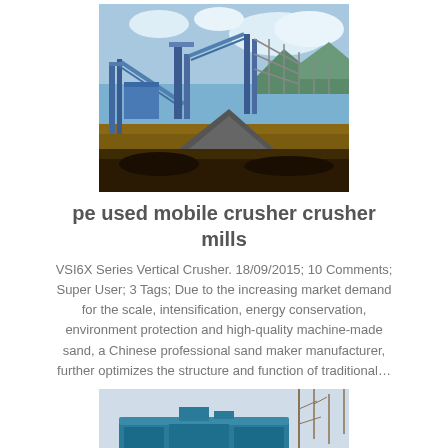[Figure (photo): Outdoor photo of a large industrial stone crushing plant facility with conveyors, machinery, and gravel piles under a blue sky]
pe used mobile crusher crusher mills
VSI6X Series Vertical Crusher. 18/09/2015; 10 Comments; Super User; 3 Tags; Due to the increasing market demand for the scale, intensification, energy conservation, environment protection and high-quality machine-made sand, a Chinese professional sand maker manufacturer, further optimizes the structure and function of traditional…
[Figure (photo): Partial view of a blue industrial crusher or mobile crushing machine outdoors]